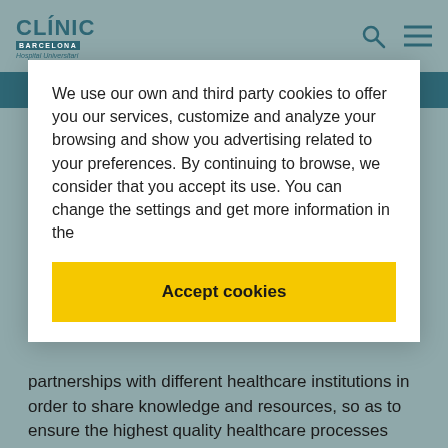CLÍNIC BARCELONA Hospital Universitari
We use our own and third party cookies to offer you our services, customize and analyze your browsing and show you advertising related to your preferences. By continuing to browse, we consider that you accept its use. You can change the settings and get more information in the
Accept cookies
partnerships with different healthcare institutions in order to share knowledge and resources, so as to ensure the highest quality healthcare processes and guarantee the